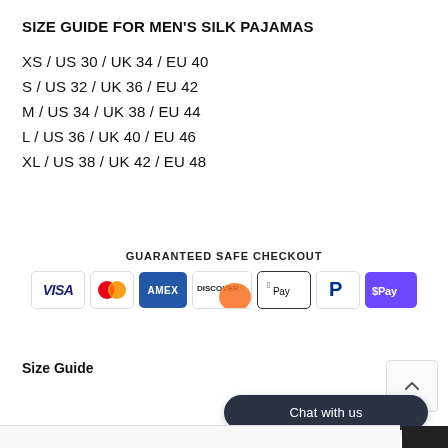SIZE GUIDE FOR MEN'S SILK PAJAMAS
XS / US 30 / UK 34 / EU 40
S / US 32 / UK 36 / EU 42
M / US 34 / UK 38 / EU 44
L / US 36 / UK 40 / EU 46
XL / US 38 / UK 42 / EU 48
GUARANTEED SAFE CHECKOUT
[Figure (infographic): Payment method logos: VISA, Mastercard, AMEX, Discover, Apple Pay, PayPal, GPay]
Size Guide
[Figure (other): Chat with us button overlay]